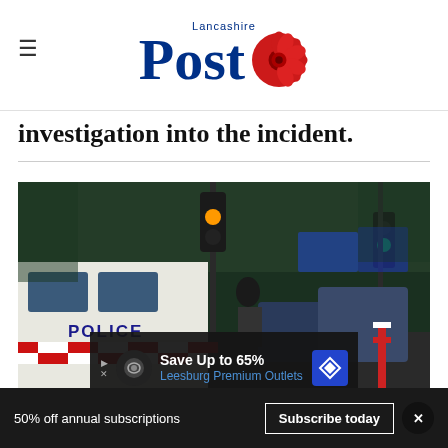Lancashire Post
investigation into the incident.
[Figure (photo): Street scene with police van marked POLICE with red/white markings, traffic lights showing amber/green, trees lining the road, and other vehicles in background]
Save Up to 65% Leesburg Premium Outlets
50% off annual subscriptions  Subscribe today